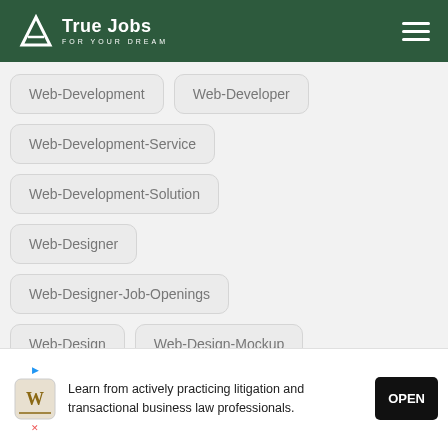True Jobs – FOR YOUR DREAM
Web-Development
Web-Developer
Web-Development-Service
Web-Development-Solution
Web-Designer
Web-Designer-Job-Openings
Web-Design
Web-Design-Mockup
Learn from actively practicing litigation and transactional business law professionals.